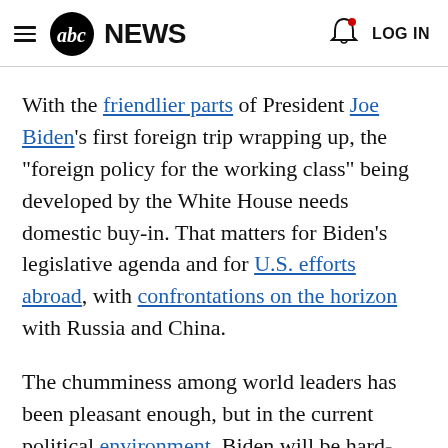abc NEWS  LOG IN
With the friendlier parts of President Joe Biden's first foreign trip wrapping up, the "foreign policy for the working class" being developed by the White House needs domestic buy-in. That matters for Biden's legislative agenda and for U.S. efforts abroad, with confrontations on the horizon with Russia and China.
The chumminess among world leaders has been pleasant enough, but in the current political environment, Biden will be hard-pressed to deliver on some of the major goals